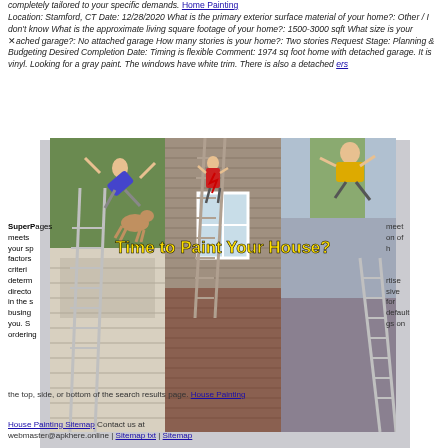completely tailored to your specific demands. Home Painting Location: Stamford, CT Date: 12/28/2020 What is the primary exterior surface material of your home?: Other / I don't know What is the approximate living square footage of your home?: 1500-3000 sqft What size is your attached garage?: No attached garage How many stories is your home?: Two stories Request Stage: Planning & Budgeting Desired Completion Date: Timing is flexible Comment: 1974 sq foot home with detached garage. It is vinyl. Looking for a gray paint. The windows have white trim. There is also a detached…ers
[Figure (photo): Three house painting photos side by side with overlay text 'Time to Paint Your House?' in yellow, showing houses with ladders and painters]
SuperPages meets your specific needs...combination of factors...criteria...determines...directory...expertise in the s...sive busine...for you. S...default ordering of search results and may appear in sponsored listings on the top, side, or bottom of the search results page. House Painting
House Painting Sitemap Contact us at webmaster@apkhere.online | Sitemap txt | Sitemap